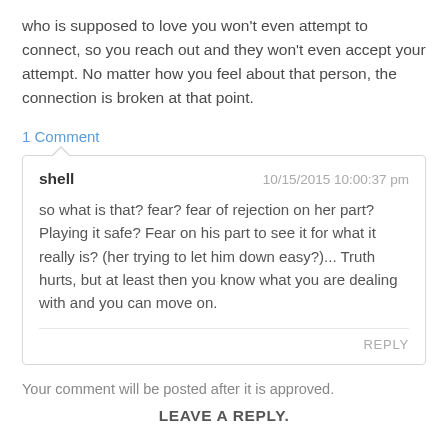who is supposed to love you won't even attempt to connect, so you reach out and they won't even accept your attempt. No matter how you feel about that person, the connection is broken at that point.
1 Comment
shell 10/15/2015 10:00:37 pm
so what is that? fear? fear of rejection on her part? Playing it safe? Fear on his part to see it for what it really is? (her trying to let him down easy?)... Truth hurts, but at least then you know what you are dealing with and you can move on.
REPLY
Your comment will be posted after it is approved.
LEAVE A REPLY.